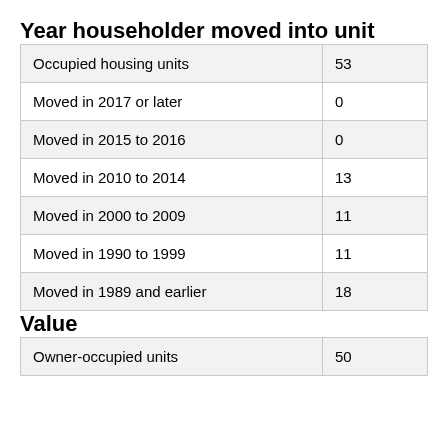Year householder moved into unit
| Occupied housing units | 53 |
| Moved in 2017 or later | 0 |
| Moved in 2015 to 2016 | 0 |
| Moved in 2010 to 2014 | 13 |
| Moved in 2000 to 2009 | 11 |
| Moved in 1990 to 1999 | 11 |
| Moved in 1989 and earlier | 18 |
Value
| Owner-occupied units | 50 |